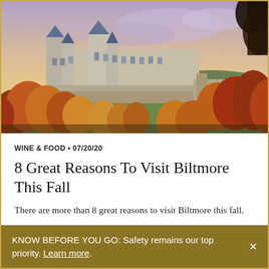[Figure (photo): Aerial/landscape photograph of Biltmore Estate mansion surrounded by autumn fall foliage trees in orange and red, under a dramatic purple-pink sky at dusk/dawn.]
WINE & FOOD • 07/20/20
8 Great Reasons To Visit Biltmore This Fall
There are more than 8 great reasons to visit Biltmore this fall.
KNOW BEFORE YOU GO: Safety remains our top priority. Learn more.